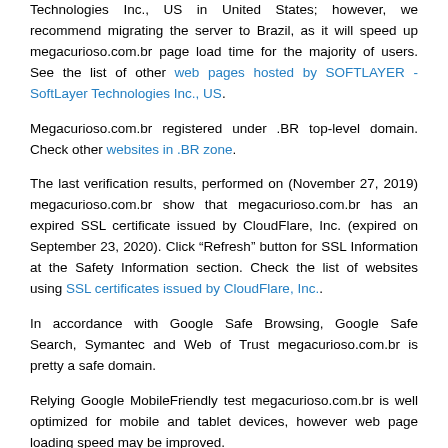Technologies Inc., US in United States; however, we recommend migrating the server to Brazil, as it will speed up megacurioso.com.br page load time for the majority of users. See the list of other web pages hosted by SOFTLAYER - SoftLayer Technologies Inc., US.
Megacurioso.com.br registered under .BR top-level domain. Check other websites in .BR zone.
The last verification results, performed on (November 27, 2019) megacurioso.com.br show that megacurioso.com.br has an expired SSL certificate issued by CloudFlare, Inc. (expired on September 23, 2020). Click “Refresh” button for SSL Information at the Safety Information section. Check the list of websites using SSL certificates issued by CloudFlare, Inc..
In accordance with Google Safe Browsing, Google Safe Search, Symantec and Web of Trust megacurioso.com.br is pretty a safe domain.
Relying Google MobileFriendly test megacurioso.com.br is well optimized for mobile and tablet devices, however web page loading speed may be improved.